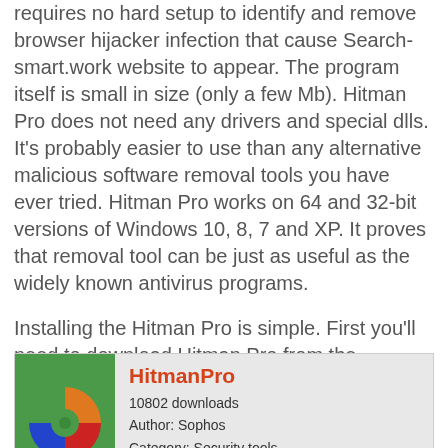requires no hard setup to identify and remove browser hijacker infection that cause Search-smart.work website to appear. The program itself is small in size (only a few Mb). Hitman Pro does not need any drivers and special dlls. It's probably easier to use than any alternative malicious software removal tools you have ever tried. Hitman Pro works on 64 and 32-bit versions of Windows 10, 8, 7 and XP. It proves that removal tool can be just as useful as the widely known antivirus programs.
Installing the Hitman Pro is simple. First you'll need to download Hitman Pro from the following link. Save it on your Desktop.
[Figure (logo): HitmanPro product logo — green background with orange, red, blue, and green pie-chart style segments]
HitmanPro
10802 downloads
Author: Sophos
Category: Security tools
Update: June 28, 2018